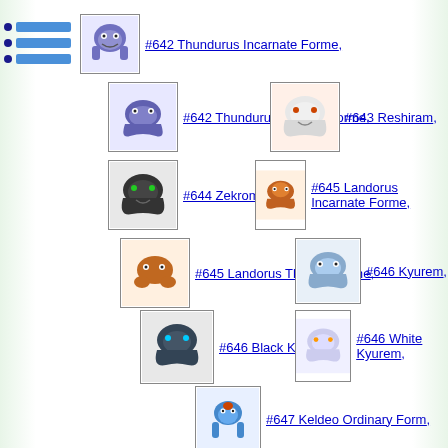#642 Thundurus Incarnate Forme,
#642 Thundurus Therian Forme,
#643 Reshiram,
#644 Zekrom,
#645 Landorus Incarnate Forme,
#645 Landorus Therian Forme,
#646 Kyurem,
#646 Black Kyurem,
#646 White Kyurem,
#647 Keldeo Ordinary Form,
#647 Keldeo Resolute Form,
#648 Meloetta Aria Forme,
#648 Meloetta Pirouette Forme,
#649 Genesect,
#652 Chesnaught,
#655 Delphox,
#658 Greninja,
#658 Ash-Greninja,
#660 Diggersby,
#663 Talonflame,